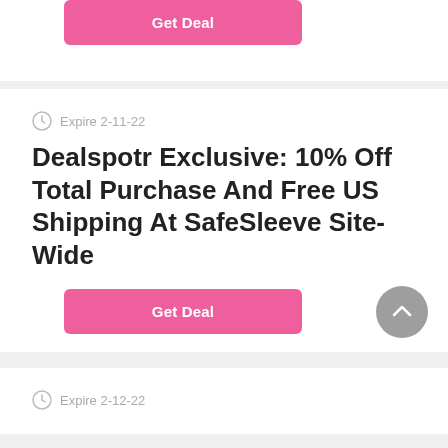[Figure (other): Pink 'Get Deal' button at top of page (partial, cropped)]
Expire 2-11-22
Dealspotr Exclusive: 10% Off Total Purchase And Free US Shipping At SafeSleeve Site-Wide
[Figure (other): Pink 'Get Deal' button]
Expire 2-12-22